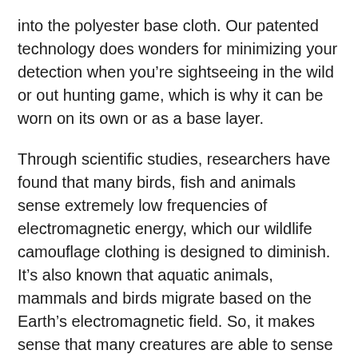into the polyester base cloth. Our patented technology does wonders for minimizing your detection when you're sightseeing in the wild or out hunting game, which is why it can be worn on its own or as a base layer.
Through scientific studies, researchers have found that many birds, fish and animals sense extremely low frequencies of electromagnetic energy, which our wildlife camouflage clothing is designed to diminish. It's also known that aquatic animals, mammals and birds migrate based on the Earth's electromagnetic field. So, it makes sense that many creatures are able to sense the energy fields that are emitted by the human body without the appropriate gear.